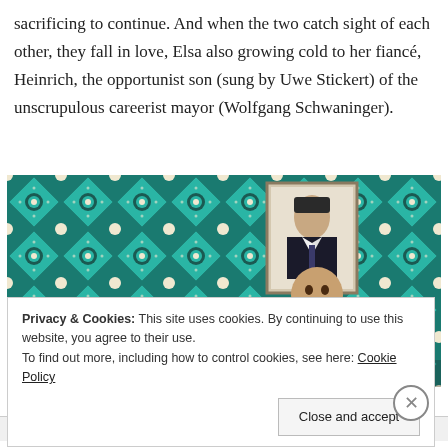sacrificing to continue. And when the two catch sight of each other, they fall in love, Elsa also growing cold to her fiancé, Heinrich, the opportunist son (sung by Uwe Stickert) of the unscrupulous careerist mayor (Wolfgang Schwaninger).
[Figure (photo): A theatrical stage scene showing a bald man in an orange costume against a teal ornamental patterned backdrop, with a framed black-and-white portrait of a man in a suit hanging on the wall above him.]
Privacy & Cookies: This site uses cookies. By continuing to use this website, you agree to their use.
To find out more, including how to control cookies, see here: Cookie Policy
Close and accept
Advertisements